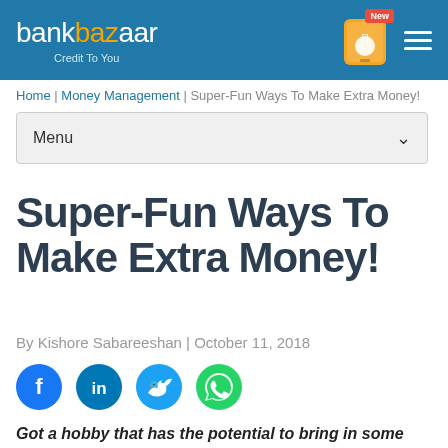bankbazaar | Credit To You
Home | Money Management | Super-Fun Ways To Make Extra Money!
Menu
Super-Fun Ways To Make Extra Money!
By Kishore Sabareeshan | October 11, 2018
[Figure (infographic): Social sharing icons: Facebook, LinkedIn, Twitter, WhatsApp]
Got a hobby that has the potential to bring in some extra money? Here are some super-fun ways you can make money in this department...